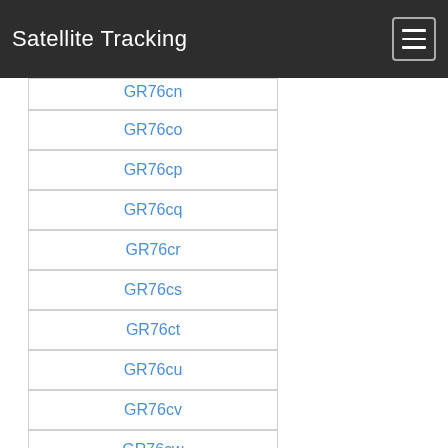Satellite Tracking
GR76co
GR76cp
GR76cq
GR76cr
GR76cs
GR76ct
GR76cu
GR76cv
GR76cw
GR76cx
GR76da
GR76db
GR76dc
GR76dd
GR76de
GR76df
GR76dg